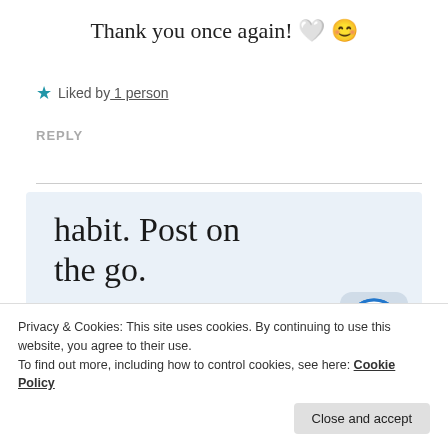Thank you once again! 🤍 😊
★ Liked by 1 person
REPLY
[Figure (infographic): WordPress app promotion banner with large text 'habit. Post on the go.' and 'GET THE APP' link, with WordPress logo icon on the right, on a light blue background.]
Privacy & Cookies: This site uses cookies. By continuing to use this website, you agree to their use.
To find out more, including how to control cookies, see here: Cookie Policy
Close and accept